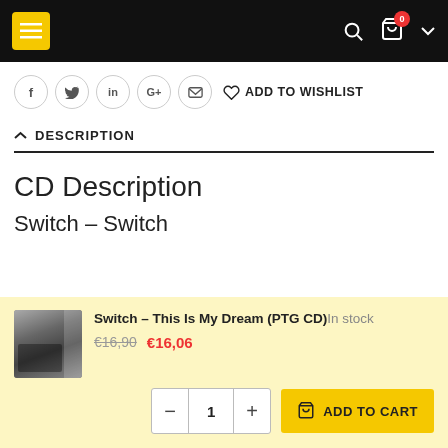Navigation bar with menu button, search, cart (0 items), and dropdown
f  t  in  G+  ✉  ADD TO WISHLIST
DESCRIPTION
CD Description
Switch – Switch
Switch – This Is My Dream (PTG CD)  In stock  €16,90  €16,06  1  ADD TO CART